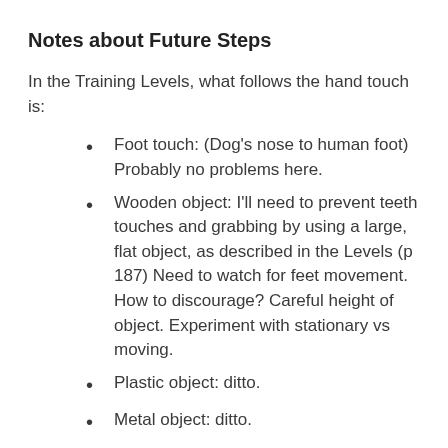Notes about Future Steps
In the Training Levels, what follows the hand touch is:
Foot touch:  (Dog’s nose to human foot) Probably no problems here.
Wooden object: I’ll need to prevent teeth touches and grabbing by using a large, flat object, as described in the Levels (p 187) Need to watch for feet movement. How to discourage? Careful height of object. Experiment with stationary vs moving.
Plastic object: ditto.
Metal object: ditto.